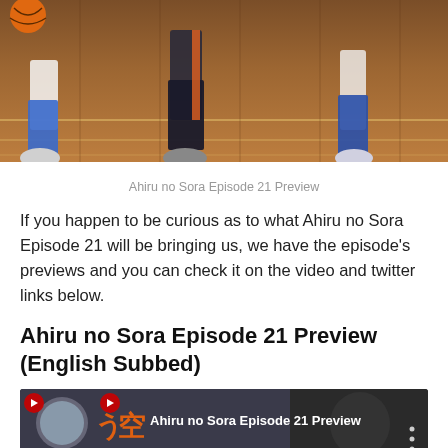[Figure (screenshot): Anime screenshot from Ahiru no Sora showing basketball players' legs and feet on a wooden gymnasium floor, mid-action]
Ahiru no Sora Episode 21 Preview
If you happen to be curious as to what Ahiru no Sora Episode 21 will be bringing us, we have the episode's previews and you can check it on the video and twitter links below.
Ahiru no Sora Episode 21 Preview (English Subbed)
[Figure (screenshot): YouTube video thumbnail showing Ahiru no Sora Episode 21 Preview with anime title logo and character image, with menu dots icon on right]